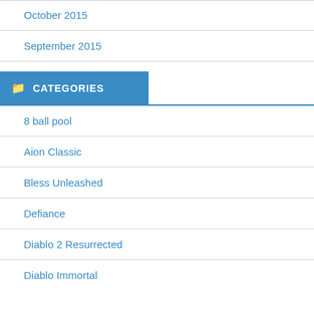October 2015
September 2015
CATEGORIES
8 ball pool
Aion Classic
Bless Unleashed
Defiance
Diablo 2 Resurrected
Diablo Immortal